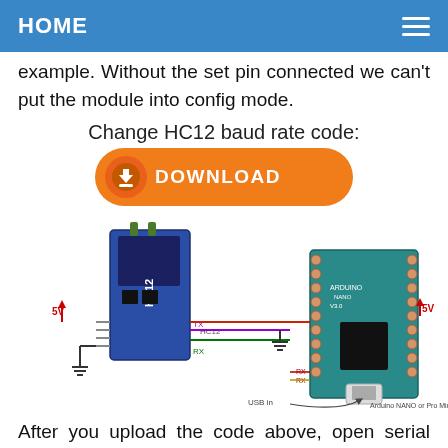HOME
example. Without the set pin connected we can't put the module into config mode.
Change HC12 baud rate code:
[Figure (other): Orange download button with download icon and text DOWNLOAD]
[Figure (engineering-diagram): Wiring diagram showing HC12 module connected to Arduino NANO or Pro Mini with 5V power, GND, TX, RX connections and USB in label]
After you upload the code above, open serial monitor and in that window below, set the baud